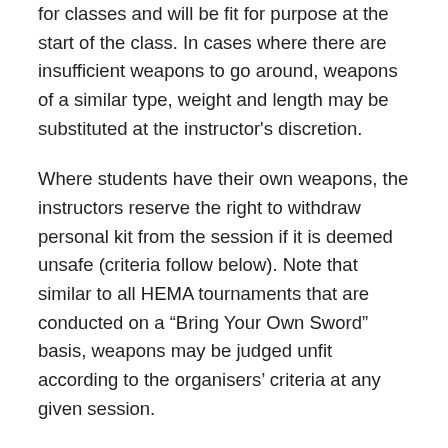for classes and will be fit for purpose at the start of the class. In cases where there are insufficient weapons to go around, weapons of a similar type, weight and length may be substituted at the instructor's discretion.
Where students have their own weapons, the instructors reserve the right to withdraw personal kit from the session if it is deemed unsafe (criteria follow below). Note that similar to all HEMA tournaments that are conducted on a “Bring Your Own Sword” basis, weapons may be judged unfit according to the organisers’ criteria at any given session.
Weapons (steel, nylon and wood) are to be checked for flexibility, wear, bend, signs of damage. Weapons may not be used if, after a serious deformation, either cannot be straightened, or which will not retain the correct shape and stiffness after straightening.
Metal weapons